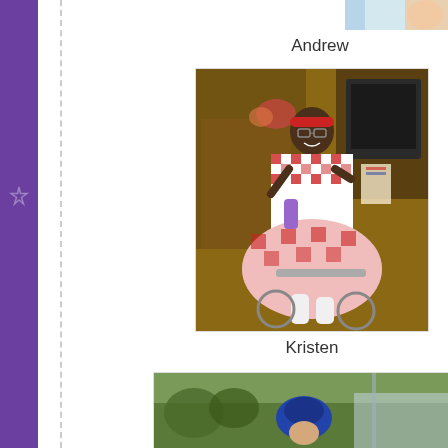[Figure (photo): Partial photo at top of page, showing what appears to be a baby or young child with blue/teal and light colored background, cropped at top]
Andrew
[Figure (photo): Photo of a young girl wearing a red and white checkered/gingham dress with a red headband, sitting in a wheelchair and smiling at the camera. Background shows furniture and household items.]
Kristen
[Figure (photo): Partial photo at bottom of page showing outdoor scene with trees and what appears to be a child wearing a blue hat, cropped at bottom]